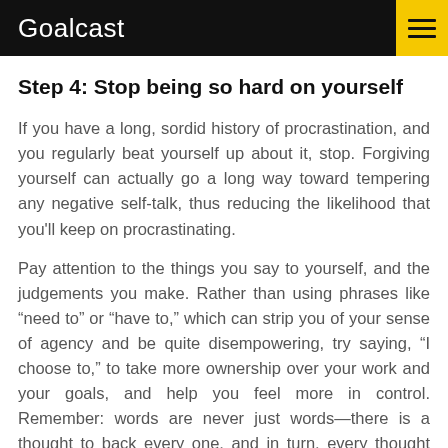Goalcast
Step 4: Stop being so hard on yourself
If you have a long, sordid history of procrastination, and you regularly beat yourself up about it, stop. Forgiving yourself can actually go a long way toward tempering any negative self-talk, thus reducing the likelihood that you'll keep on procrastinating.
Pay attention to the things you say to yourself, and the judgements you make. Rather than using phrases like “need to” or “have to,” which can strip you of your sense of agency and be quite disempowering, try saying, “I choose to,” to take more ownership over your work and your goals, and help you feel more in control. Remember: words are never just words—there is a thought to back every one, and in turn, every thought has weight.